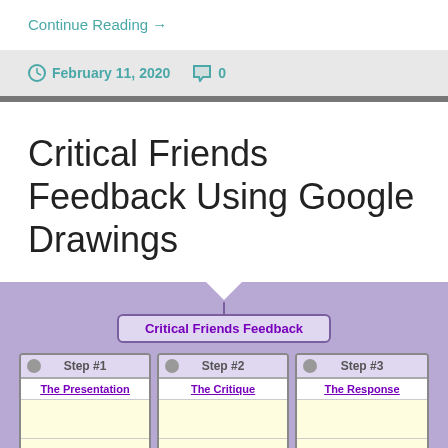Continue Reading →
February 11, 2020   0
Critical Friends Feedback Using Google Drawings
[Figure (infographic): Critical Friends Feedback infographic showing three steps: Step #1 The Presentation, Step #2 The Critique, Step #3 The Response, each with scroll-style headers and empty yellow content boxes, on a purple background.]